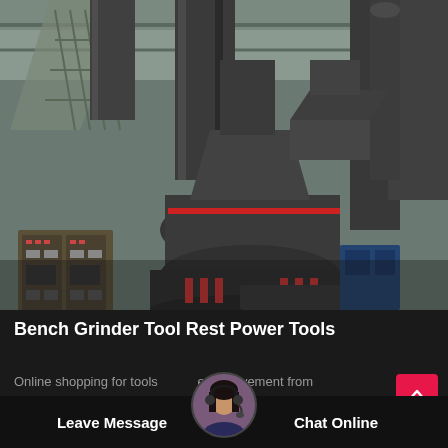[Figure (photo): Industrial grinding mill machinery in a factory setting with large metal columns, pipes, ducts, and electrical control panels. Dark grey heavy equipment photographed indoors under an industrial structure.]
Bench Grinder Tool Rest Power Tools
Online shopping for tools home improvement from great selection of drills sanders air compressors inflators wet dry vacuums sanders more at everyday
Leave Message
Chat Online